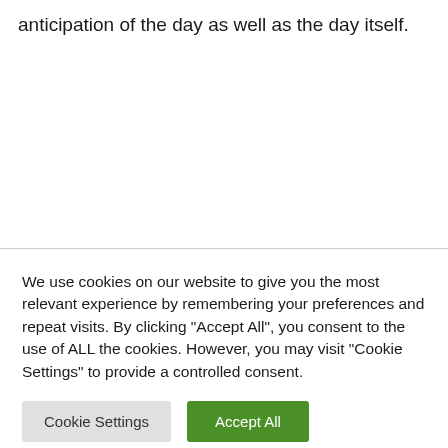anticipation of the day as well as the day itself.
We use cookies on our website to give you the most relevant experience by remembering your preferences and repeat visits. By clicking "Accept All", you consent to the use of ALL the cookies. However, you may visit "Cookie Settings" to provide a controlled consent.
Cookie Settings
Accept All